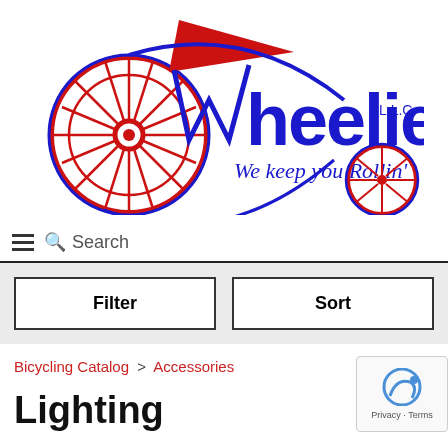[Figure (logo): Wheelies LLC logo — a large red bicycle wheel on the left, stylized blue text reading 'Wheelies L.L.C.' with a red arrow/pennant element at top, and italic blue text 'We keep you Rollin'' underneath, and a smaller red wheel on the right.]
Search
Filter
Sort
Bicycling Catalog > Accessories
Lighting